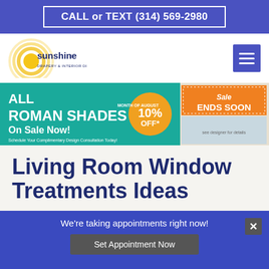CALL or TEXT (314) 569-2980
[Figure (logo): Sunshine Drapery & Interior Design logo with circular sun graphic in yellow/gold]
[Figure (infographic): Banner ad: ALL ROMAN SHADES On Sale Now! MONTH OF AUGUST 10% OFF* Schedule Your Complimentary Design Consultation Today! Sale ENDS SOON]
Living Room Window Treatments Ideas
We're taking appointments right now!
Set Appointment Now